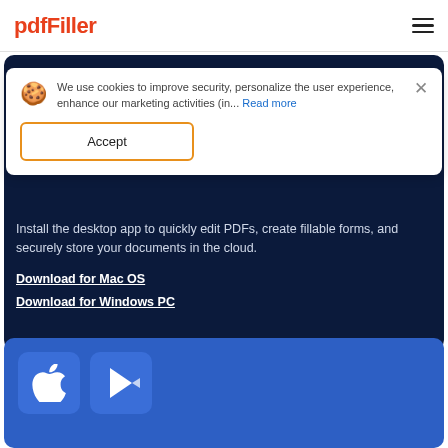pdfFiller
We use cookies to improve security, personalize the user experience, enhance our marketing activities (in... Read more
Accept
Install the desktop app to quickly edit PDFs, create fillable forms, and securely store your documents in the cloud.
Download for Mac OS
Download for Windows PC
[Figure (screenshot): Blue mobile section with Apple App Store and Google Play Store icons]